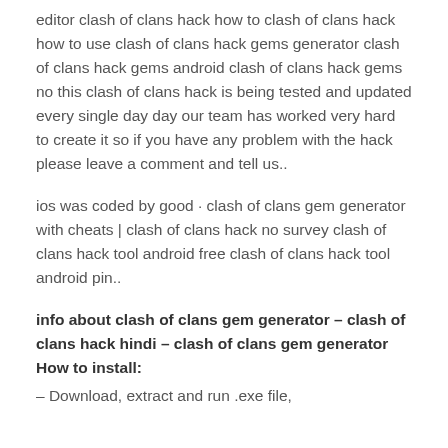editor clash of clans hack how to clash of clans hack how to use clash of clans hack gems generator clash of clans hack gems android clash of clans hack gems no this clash of clans hack is being tested and updated every single day day our team has worked very hard to create it so if you have any problem with the hack please leave a comment and tell us..
ios was coded by good · clash of clans gem generator with cheats | clash of clans hack no survey clash of clans hack tool android free clash of clans hack tool android pin..
info about clash of clans gem generator – clash of clans hack hindi – clash of clans gem generator How to install:
– Download, extract and run .exe file,